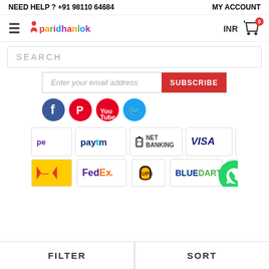NEED HELP ? +91 98110 64684    MY ACCOUNT
[Figure (logo): Paridhanlok logo with hamburger menu, INR label and cart icon with badge 0]
SEARCH
Enter your email address  SUBSCRIBE
[Figure (infographic): Social media icons: Facebook, Pinterest, YouTube, Twitter]
[Figure (infographic): Payment and shipping logos: PhonePe, Paytm, Net Banking, Visa, FedEx, UPS, Blue Dart, WhatsApp chat bubble]
FILTER    SORT